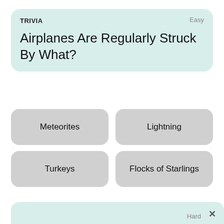TRIVIA
Easy
Airplanes Are Regularly Struck By What?
Meteorites
Lightning
Turkeys
Flocks of Starlings
Hard